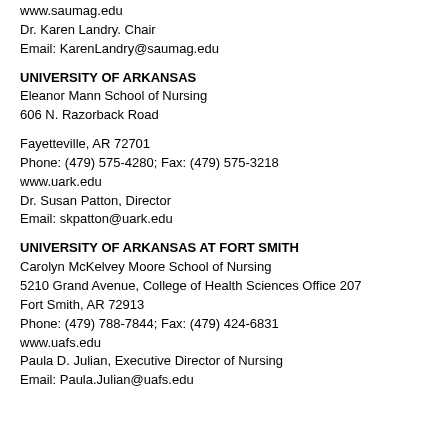www.saumag.edu
Dr. Karen Landry. Chair
Email: KarenLandry@saumag.edu
UNIVERSITY OF ARKANSAS
Eleanor Mann School of Nursing
606 N. Razorback Road
Fayetteville, AR 72701
Phone: (479) 575-4280; Fax:  (479) 575-3218
www.uark.edu
Dr. Susan Patton, Director
Email:  skpatton@uark.edu
UNIVERSITY OF ARKANSAS AT FORT SMITH
Carolyn McKelvey Moore School of Nursing
5210 Grand Avenue, College of Health Sciences Office 207
Fort Smith, AR 72913
Phone: (479) 788-7844; Fax: (479) 424-6831
www.uafs.edu
Paula D. Julian, Executive Director of Nursing
Email: Paula.Julian@uafs.edu